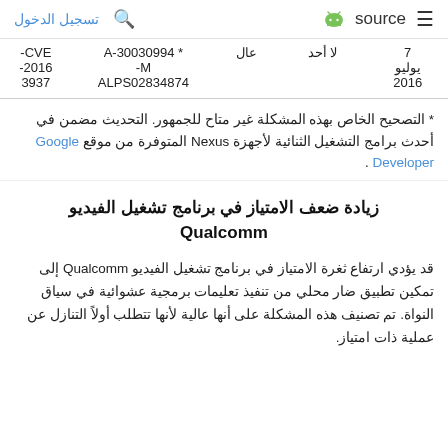تسجيل الدخول  🔍   source  ≡
| CVE- | A-30030994 M-ALPS02834874 | عال | لا أحد | 7 يوليو 2016 |
| --- | --- | --- | --- | --- |
| CVE-
2016-
3937 | * A-30030994
M-
ALPS02834874 | عال | لا أحد | 7
يوليو
2016 |
* التصحيح الخاص بهذه المشكلة غير متاح للجمهور. التحديث مضمن في أحدث برامج التشغيل الثنائية لأجهزة Nexus المتوفرة من موقع Google Developer .
زيادة ضعف الامتياز في برنامج تشغيل الفيديو Qualcomm
قد يؤدي ارتفاع ثغرة الامتياز في برنامج تشغيل الفيديو Qualcomm إلى تمكين تطبيق ضار محلي من تنفيذ تعليمات برمجية عشوائية في سياق النواة. تم تصنيف هذه المشكلة على أنها عالية لأنها تتطلب أولاً التنازل عن عملية ذات امتياز.